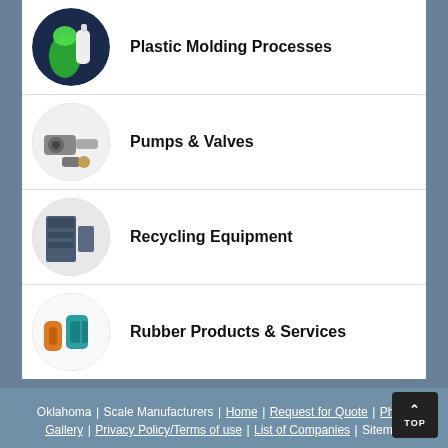Plastic Molding Processes
Pumps & Valves
Recycling Equipment
Rubber Products & Services
Oklahoma | Scale Manufacturers | Home | Request for Quote | Photo Gallery | Privacy Policy/Terms of use | List of Companies | Sitemap